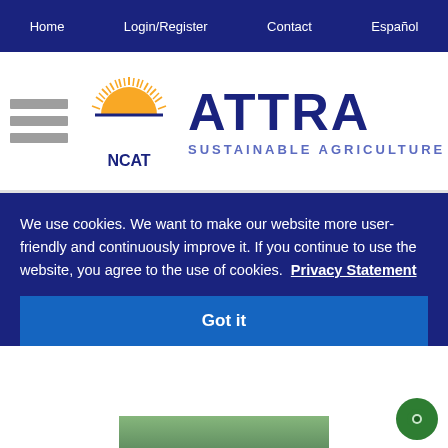Home  Login/Register  Contact  Español
[Figure (logo): NCAT ATTRA Sustainable Agriculture logo with sun graphic]
We use cookies. We want to make our website more user-friendly and continuously improve it. If you continue to use the website, you agree to the use of cookies.  Privacy Statement
Got it